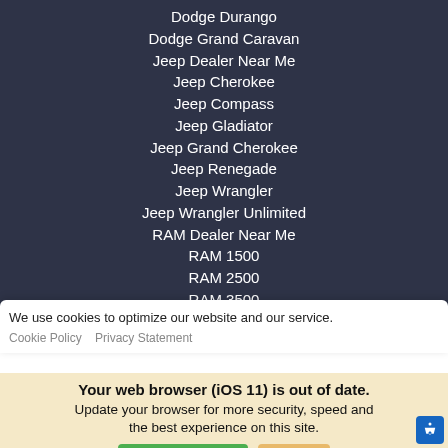Dodge Durango
Dodge Grand Caravan
Jeep Dealer Near Me
Jeep Cherokee
Jeep Compass
Jeep Gladiator
Jeep Grand Cherokee
Jeep Renegade
Jeep Wrangler
Jeep Wrangler Unlimited
RAM Dealer Near Me
RAM 1500
RAM 2500
RAM 3500
RAM 1500 Classic
We use cookies to optimize our website and our service.
Cookie Policy  Privacy Statement
Your web browser (iOS 11) is out of date. Update your browser for more security, speed and the best experience on this site.